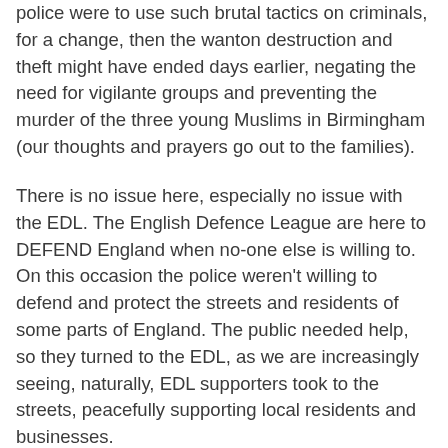police were to use such brutal tactics on criminals, for a change, then the wanton destruction and theft might have ended days earlier, negating the need for vigilante groups and preventing the murder of the three young Muslims in Birmingham (our thoughts and prayers go out to the families).
There is no issue here, especially no issue with the EDL. The English Defence League are here to DEFEND England when no-one else is willing to. On this occasion the police weren't willing to defend and protect the streets and residents of some parts of England. The public needed help, so they turned to the EDL, as we are increasingly seeing, naturally, EDL supporters took to the streets, peacefully supporting local residents and businesses.
There is nothing extremist, far-right, criminal or wrong about doing that. It shows the community spirit and big society that Mr Cameron keeps